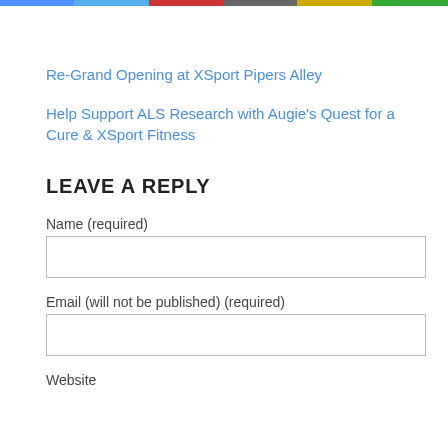Re-Grand Opening at XSport Pipers Alley
Help Support ALS Research with Augie's Quest for a Cure & XSport Fitness
LEAVE A REPLY
Name (required)
Email (will not be published) (required)
Website